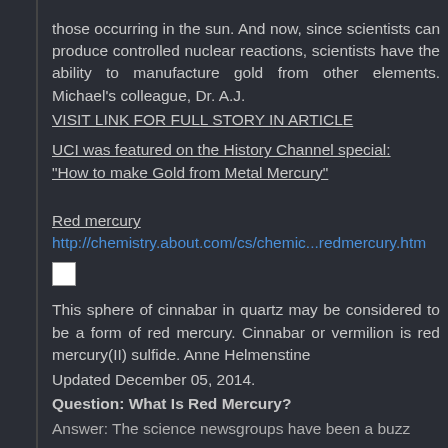those occurring in the sun. And now, since scientists can produce controlled nuclear reactions, scientists have the ability to manufacture gold from other elements. Michael's colleague, Dr. A.J.
VISIT LINK FOR FULL STORY IN ARTICLE
UCI was featured on the History Channel special: “How to make Gold from Metal Mercury”
Red mercury
http://chemistry.about.com/cs/chemic...redmercury.htm
[Figure (photo): Small thumbnail image placeholder for cinnabar sphere photo]
This sphere of cinnabar in quartz may be considered to be a form of red mercury. Cinnabar or vermilion is red mercury(II) sulfide. Anne Helmenstine Updated December 05, 2014. Question: What Is Red Mercury?
Answer: The science newsgroups have been a buzz